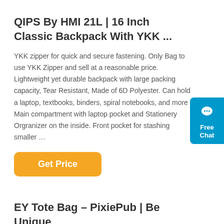QIPS By HMI 21L | 16 Inch Classic Backpack With YKK ...
YKK zipper for quick and secure fastening. Only Bag to use YKK Zipper and sell at a reasonable price. Lightweight yet durable backpack with large packing capacity, Tear Resistant, Made of 6D Polyester. Can hold a laptop, textbooks, binders, spiral notebooks, and more Main compartment with laptop pocket and Stationery Orgranizer on the inside. Front pocket for stashing smaller …
[Figure (other): Orange 'Get Price' button]
[Figure (other): Free Chat widget in blue on the right side]
EY Tote Bag – PixiePub | Be Unique
This reusable tote bag is ideal for carrying books, transporting ...